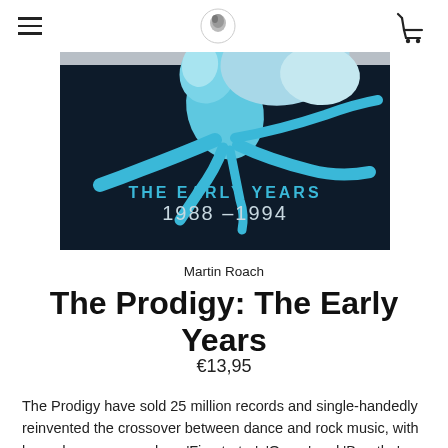Navigation bar with hamburger menu, logo, and cart icon
[Figure (illustration): Album cover for 'The Prodigy: The Early Years 1988-1994'. Dark navy background with cyan/light blue abstract creature/ant-like figure silhouette. Grey area at top with white circular logo. Text reads 'THE EARLY YEARS 1988-1994' in teal and white.]
Martin Roach
The Prodigy: The Early Years
€13,95
The Prodigy have sold 25 million records and single-handedly reinvented the crossover between dance and rock music, with legendary songs such as 'Firestarter', 'Omen' and 'Breathe'. However